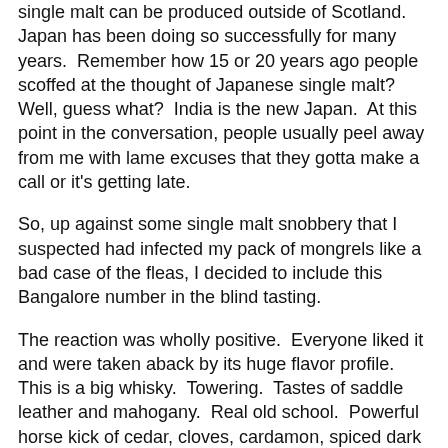single malt can be produced outside of Scotland.  Japan has been doing so successfully for many years.  Remember how 15 or 20 years ago people scoffed at the thought of Japanese single malt?  Well, guess what?  India is the new Japan.  At this point in the conversation, people usually peel away from me with lame excuses that they gotta make a call or it's getting late.
So, up against some single malt snobbery that I suspected had infected my pack of mongrels like a bad case of the fleas, I decided to include this Bangalore number in the blind tasting.
The reaction was wholly positive.  Everyone liked it and were taken aback by its huge flavor profile.  This is a big whisky.  Towering.  Tastes of saddle leather and mahogany.  Real old school.  Powerful horse kick of cedar, cloves, cardamon, spiced dark treacle, coriander. Dark chocolate that has a heavy weighting of cocoa. Some big peat notes reminiscent of Islay are also present.  At 50% ABV it is amazingly enjoyable neat.  Mind you, not for the novice.
When the r...